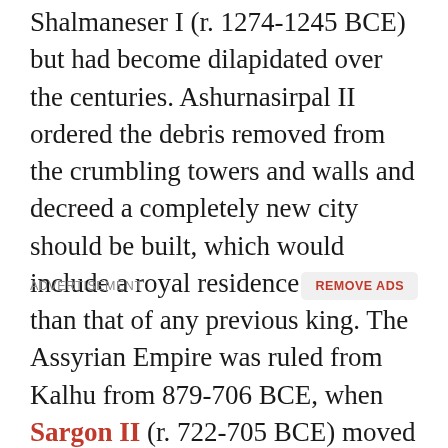Shalmaneser I (r. 1274-1245 BCE) but had become dilapidated over the centuries. Ashurnasirpal II ordered the debris removed from the crumbling towers and walls and decreed a completely new city should be built, which would include a royal residence greater than that of any previous king. The Assyrian Empire was ruled from Kalhu from 879-706 BCE, when Sargon II (r. 722-705 BCE) moved the capital to his new city of Dur-Sharrukin.
ADVERTISEMENT
REMOVE ADS